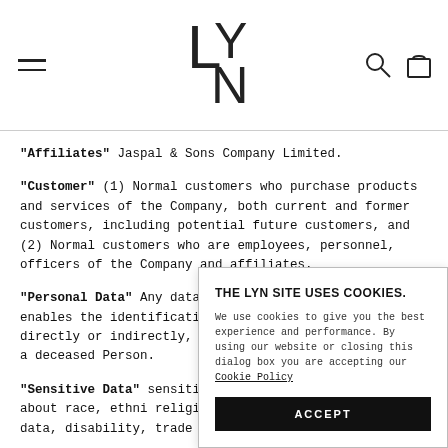LYN (logo with hamburger menu, search and cart icons)
"Affiliates" Jaspal & Sons Company Limited.
"Customer" (1) Normal customers who purchase products and services of the Company, both current and former customers, including potential future customers, and (2) Normal customers who are employees, personnel, officers of the Company and affiliates.
"Personal Data" Any data relating to a Person, which enables the identification of that person, whether directly or indirectly, but not including the data of a deceased Person.
"Sensitive Data" sensitive data as Personal Data Pr about race, ethni religion or philo record, health data, disability, trade union data,
THE LYN SITE USES COOKIES. We use cookies to give you the best experience and performance. By using our website or closing this dialog box you are accepting our Cookie Policy
ACCEPT